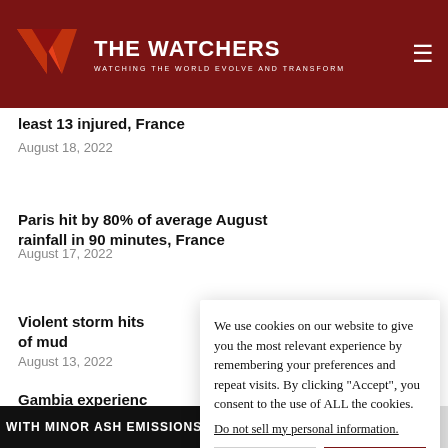THE WATCHERS — WATCHING THE WORLD EVOLVE AND TRANSFORM
least 13 injured, France
August 18, 2022
Paris hit by 80% of average August rainfall in 90 minutes, France
August 17, 2022
Violent storm hits [... and brings river] of mud
August 13, 2022
Gambia experienc[es...]
August 12, 2022
We use cookies on our website to give you the most relevant experience by remembering your preferences and repeat visits. By clicking "Accept", you consent to the use of ALL the cookies. Do not sell my personal information.
WITH MINOR ASH EMISSIONS OBSERVED WEDNESDAY AND TH...